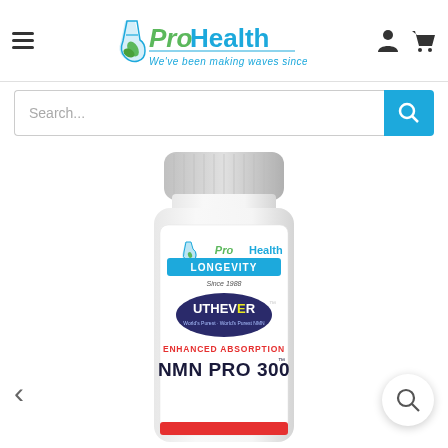[Figure (logo): ProHealth logo with flask icon and green leaf. Text: 'ProHealth' and tagline 'We've been making waves since 1988']
[Figure (screenshot): Search bar with placeholder text 'Search...' and blue search button with magnifying glass icon]
[Figure (photo): ProHealth Longevity NMN PRO 300 supplement bottle with UTHEVER branding and Enhanced Absorption label. White pill bottle with grey cap showing the ProHealth Longevity label.]
[Figure (other): Left navigation arrow chevron (<) for image carousel]